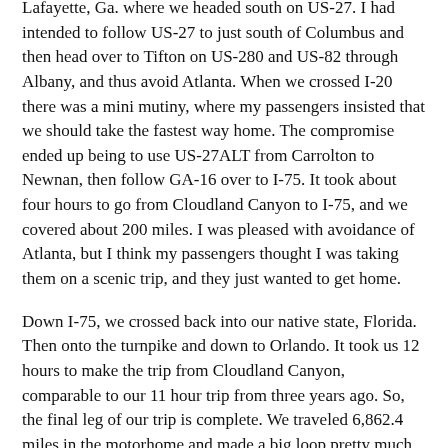Lafayette, Ga. where we headed south on US-27. I had intended to follow US-27 to just south of Columbus and then head over to Tifton on US-280 and US-82 through Albany, and thus avoid Atlanta. When we crossed I-20 there was a mini mutiny, where my passengers insisted that we should take the fastest way home. The compromise ended up being to use US-27ALT from Carrolton to Newnan, then follow GA-16 over to I-75. It took about four hours to go from Cloudland Canyon to I-75, and we covered about 200 miles. I was pleased with avoidance of Atlanta, but I think my passengers thought I was taking them on a scenic trip, and they just wanted to get home.
Down I-75, we crossed back into our native state, Florida. Then onto the turnpike and down to Orlando. It took us 12 hours to make the trip from Cloudland Canyon, comparable to our 11 hour trip from three years ago. So, the final leg of our trip is complete. We traveled 6,862.4 miles in the motorhome and made a big loop pretty much all the way across the country. A wonderful trip, and we'll probably put some more thoughts about it in some future post. Right now we have an RV to clean up.
Posted in Great American Road Trip, RV Stuff, Travel   permalink